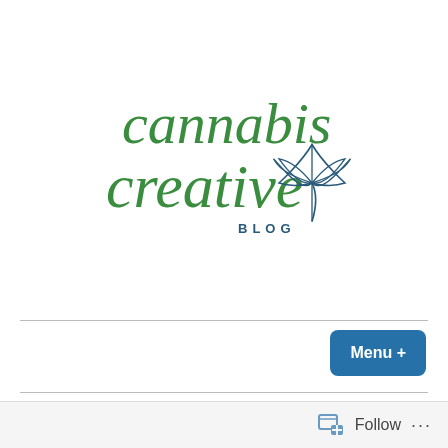[Figure (logo): Cannabis Creative Blog logo — cursive green text reading 'cannabis creative' with a cannabis leaf illustration and 'BLOG' in small caps below]
[Figure (other): Blue rounded rectangle button with text 'Menu +']
I Hate Foundation
Last week I walked into Target and did something I haven't done in almost two years.
I bought makeup.
Follow ...